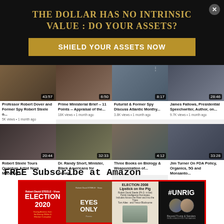THE DOLLAR HAS NO INTRINSIC VALUE : DO YOUR ASSETS?
SHIELD YOUR ASSETS NOW
[Figure (screenshot): YouTube video grid row 1: Professor Robert Dover and Former Spy Robert Steele o... (5K views • 1 month ago, 43:57); Prime Ministerial Brief -- 11 Points -- Appraisal of the... (18K views • 1 month ago, 6:50); Futurist & Former Spy Discuss Atlantic Monthy... (3.8K views • 1 month ago, 8:17); James Fallows, Presidential Speechwriter, Author, on... (9.7K views • 1 month ago, 28:46)]
[Figure (screenshot): YouTube video grid row 2: Robert Steele Tours Quantum Artist Nora Maccoby's... (20:44); Dr. Randy Short, Minister, Black Americans for Donald... (32:33); Three Books on Biology & Weaponization of... (4:12); Jim Turner On FDA Policy, Organics, 5G and Monsanto... (33:28)]
FREE Subscribe at Amazon
[Figure (screenshot): Book covers grid: ELECTION 2020, EYES ONLY, ELECTION 2008 Lipstick on the Pig, #UNRIG Beyond Trump & Sanders]